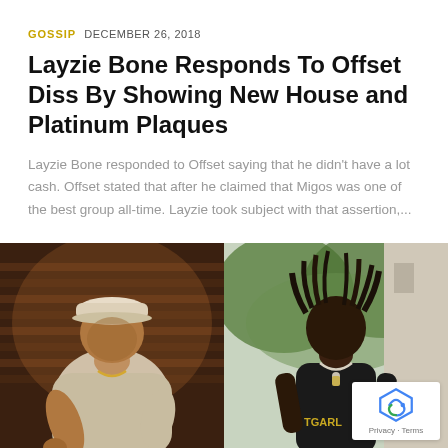GOSSIP  DECEMBER 26, 2018
Layzie Bone Responds To Offset Diss By Showing New House and Platinum Plaques
Layzie Bone responded to Offset saying that he didn't have a lot cash. Offset stated that after he claimed that Migos was one of the best group all-time. Layzie took subject with that assertion,...
[Figure (photo): Two side-by-side photos: left shows Layzie Bone in a white cap and chain leaning forward, right shows Offset in a black t-shirt with chain.]